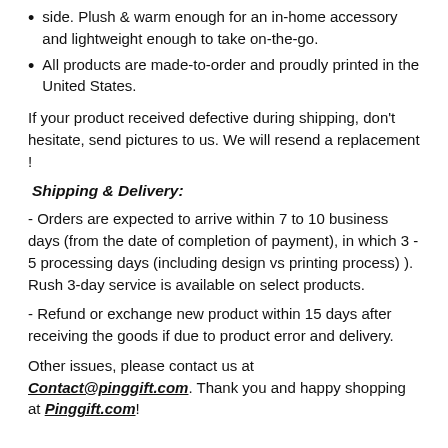side. Plush & warm enough for an in-home accessory and lightweight enough to take on-the-go.
All products are made-to-order and proudly printed in the United States.
If your product received defective during shipping, don't hesitate, send pictures to us. We will resend a replacement !
Shipping & Delivery:
- Orders are expected to arrive within 7 to 10 business days (from the date of completion of payment), in which 3 - 5 processing days (including design vs printing process) ). Rush 3-day service is available on select products.
- Refund or exchange new product within 15 days after receiving the goods if due to product error and delivery.
Other issues, please contact us at Contact@pinggift.com. Thank you and happy shopping at Pinggift.com!